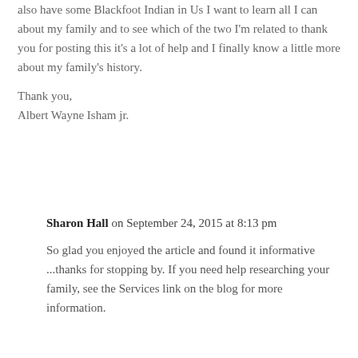also have some Blackfoot Indian in Us I want to learn all I can about my family and to see which of the two I'm related to thank you for posting this it's a lot of help and I finally know a little more about my family's history.

Thank you,
Albert Wayne Isham jr.
Sharon Hall on September 24, 2015 at 8:13 pm

So glad you enjoyed the article and found it informative ...thanks for stopping by. If you need help researching your family, see the Services link on the blog for more information.